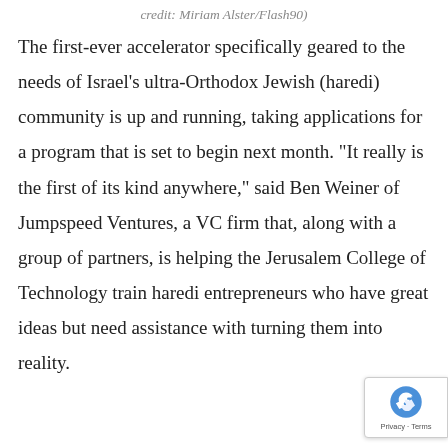credit: Miriam Alster/Flash90)
The first-ever accelerator specifically geared to the needs of Israel’s ultra-Orthodox Jewish (haredi) community is up and running, taking applications for a program that is set to begin next month. “It really is the first of its kind anywhere,” said Ben Weiner of Jumpspeed Ventures, a VC firm that, along with a group of partners, is helping the Jerusalem College of Technology train haredi entrepreneurs who have great ideas but need assistance with turning them into reality.